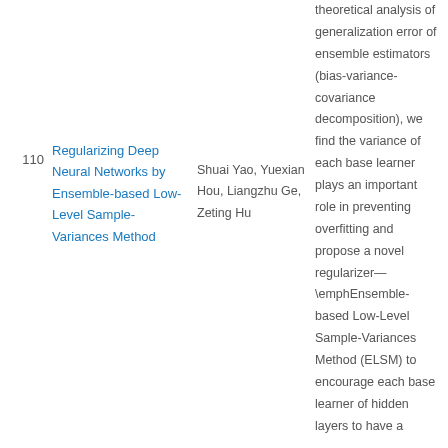110
Regularizing Deep Neural Networks by Ensemble-based Low-Level Sample-Variances Method
Shuai Yao, Yuexian Hou, Liangzhu Ge, Zeting Hu
theoretical analysis of generalization error of ensemble estimators (bias-variance-covariance decomposition), we find the variance of each base learner plays an important role in preventing overfitting and propose a novel regularizer—\emphEnsemble-based Low-Level Sample-Variances Method (ELSM) to encourage each base learner of hidden layers to have a